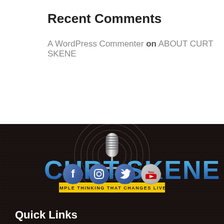Recent Comments
A WordPress Commenter on ABOUT CURT SKENE
[Figure (logo): Curt Skene logo with microphone and radio waves, text CURT SKENE, tagline SIMPLE THINKING THAT CHANGES LIVES on yellow bar, social media icons for Facebook, Instagram, Twitter, YouTube]
Quick Links